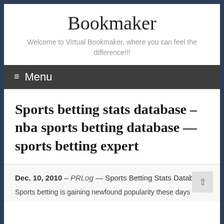Bookmaker
Welcome to Virtual Bookmaker, where you can feel the difference!!!
≡ Menu
Sports betting stats database – nba sports betting database — sports betting expert
Dec. 10, 2010 – PRLog — Sports Betting Stats Database
Sports betting is gaining newfound popularity these days